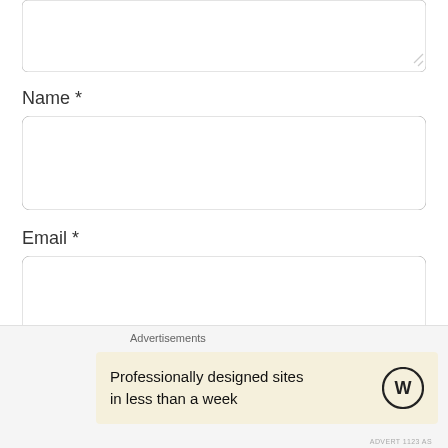[Figure (screenshot): Textarea input stub at top of page (partial, cropped at top)]
Name *
[Figure (screenshot): Name input field — empty rounded rectangle text input]
Email *
[Figure (screenshot): Email input field — empty rounded rectangle text input]
Website
[Figure (screenshot): Website input field — empty rounded rectangle text input]
Save my name, email, and website in this browser...
Advertisements
Professionally designed sites in less than a week